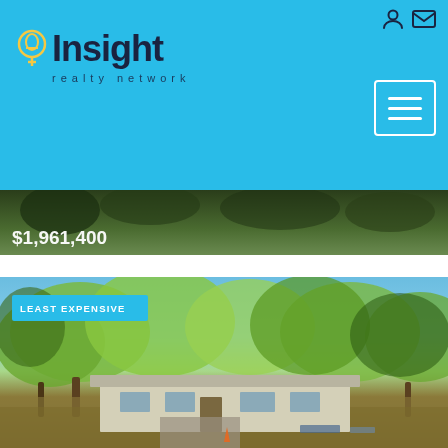[Figure (screenshot): Insight Realty Network website header with light blue background, logo with lightbulb icon, navigation icons (person and email) top right, hamburger menu button]
[Figure (photo): Partially visible property photo strip showing wooded/green scenery with price overlay $1,961,400]
[Figure (photo): Property photo showing a ranch-style house surrounded by large trees with yellow-green foliage, blue sky, brown grass lawn, with 'LEAST EXPENSIVE' badge overlay]